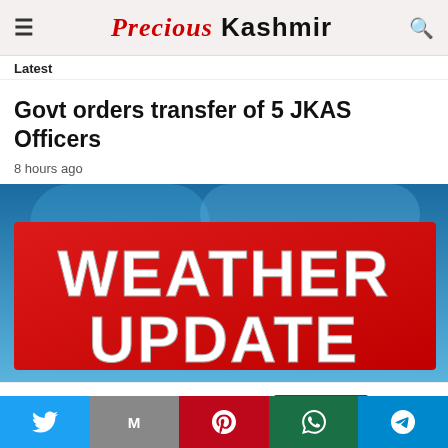Precious Kashmir
Latest
Govt orders transfer of 5 JKAS Officers
8 hours ago
[Figure (photo): Weather Update news graphic with bold white text on red background and blue sky background]
This website uses cookies. Accept
Social sharing bar: Twitter, Gmail, Pinterest, WhatsApp, Telegram